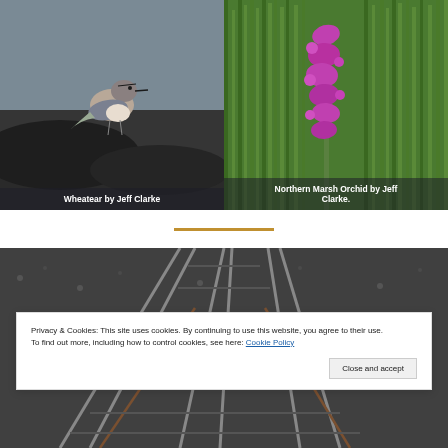[Figure (photo): Close-up photo of a Wheatear bird perched on a dark rocky surface, grey-brown plumage, against a blurred grey background]
Wheatear by Jeff Clarke
[Figure (photo): Photo of a Northern Marsh Orchid, bright pink-purple flowering spike, surrounded by tall green grass stems]
Northern Marsh Orchid by Jeff Clarke.
[Figure (photo): Photo of multiple railway tracks converging and diverging, dark gravel ballast, viewed from above at an angle]
Privacy & Cookies: This site uses cookies. By continuing to use this website, you agree to their use.
To find out more, including how to control cookies, see here: Cookie Policy
Close and accept